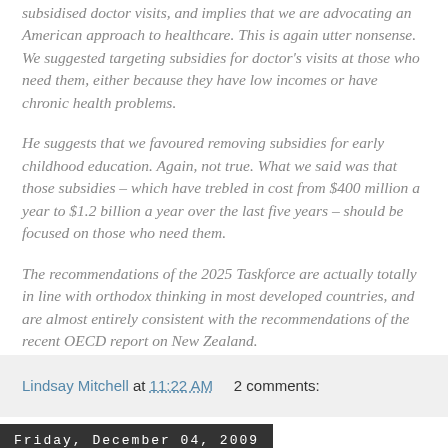subsidised doctor visits, and implies that we are advocating an American approach to healthcare. This is again utter nonsense. We suggested targeting subsidies for doctor's visits at those who need them, either because they have low incomes or have chronic health problems.
He suggests that we favoured removing subsidies for early childhood education. Again, not true. What we said was that those subsidies – which have trebled in cost from $400 million a year to $1.2 billion a year over the last five years – should be focused on those who need them.
The recommendations of the 2025 Taskforce are actually totally in line with orthodox thinking in most developed countries, and are almost entirely consistent with the recommendations of the recent OECD report on New Zealand.
Lindsay Mitchell at 11:22 AM    2 comments:
Friday, December 04, 2009